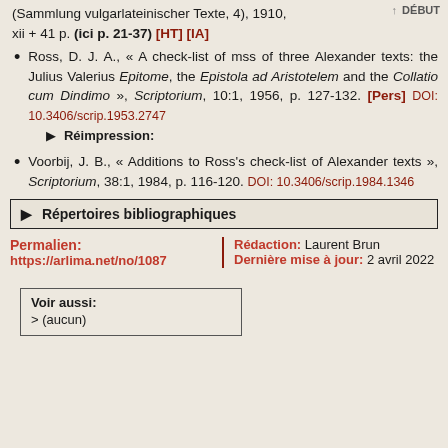(Sammlung vulgarlateinischer Texte, 4), 1910, xii + 41 p. (ici p. 21-37) [HT] [IA]
Ross, D. J. A., « A check-list of mss of three Alexander texts: the Julius Valerius Epitome, the Epistola ad Aristotelem and the Collatio cum Dindimo », Scriptorium, 10:1, 1956, p. 127-132. [Pers] DOI: 10.3406/scrip.1953.2747 ▶ Réimpression:
Voorbij, J. B., « Additions to Ross's check-list of Alexander texts », Scriptorium, 38:1, 1984, p. 116-120. DOI: 10.3406/scrip.1984.1346
▶ Répertoires bibliographiques
Permalien: https://arlima.net/no/1087
Rédaction: Laurent Brun Dernière mise à jour: 2 avril 2022
Voir aussi: > (aucun)